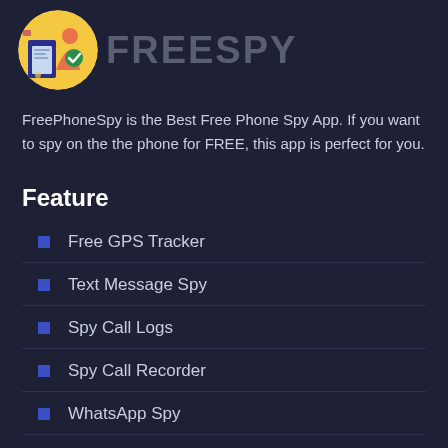[Figure (logo): FreeSpy app logo - circular icon with colorful illustration of a person and devices, next to bold gray text 'FREESPY']
FreePhoneSpy is the Best Free Phone Spy App. If you want to spy on the the phone for FREE, this app is perfect for you.
Feature
Free GPS Tracker
Text Message Spy
Spy Call Logs
Spy Call Recorder
WhatsApp Spy